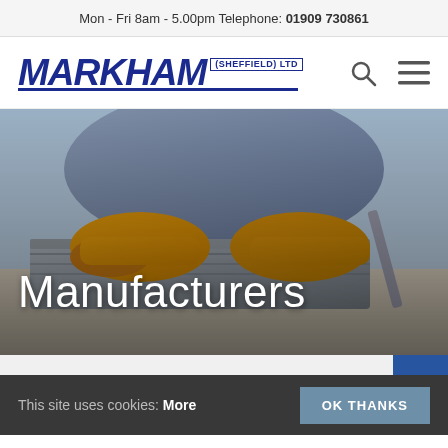Mon - Fri 8am - 5.00pm Telephone: 01909 730861
[Figure (logo): Markham (Sheffield) Ltd logo in dark blue italic bold text with underline]
[Figure (photo): Worker with yellow gloves laying concrete/granite blocks on a construction site — hero banner image with text 'Manufacturers' overlaid in white]
Manufacturers
This site uses cookies: More
OK THANKS